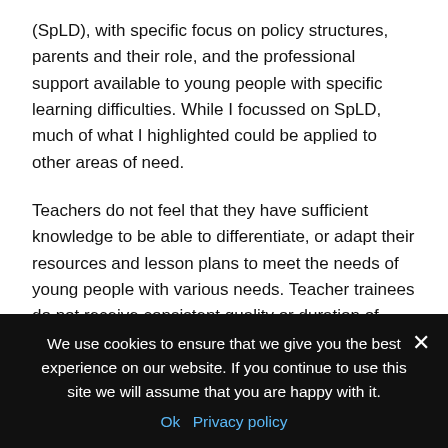(SpLD), with specific focus on policy structures, parents and their role, and the professional support available to young people with specific learning difficulties. While I focussed on SpLD, much of what I highlighted could be applied to other areas of need.
Teachers do not feel that they have sufficient knowledge to be able to differentiate, or adapt their resources and lesson plans to meet the needs of young people with various needs. Teacher trainees do not receive consistent quality or duration of input in SEND provision. Ofsted acknowledged in 2020 that quality across different types of providers is inconsistent and despite their oversight of provision, Ofsted appears to have
We use cookies to ensure that we give you the best experience on our website. If you continue to use this site we will assume that you are happy with it.
Ok   Privacy policy